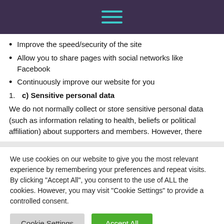[Figure (other): Dark purple header bar with teal hamburger menu icon (three horizontal lines)]
Improve the speed/security of the site
Allow you to share pages with social networks like Facebook
Continuously improve our website for you
1. c) Sensitive personal data
We do not normally collect or store sensitive personal data (such as information relating to health, beliefs or political affiliation) about supporters and members. However, there
We use cookies on our website to give you the most relevant experience by remembering your preferences and repeat visits. By clicking "Accept All", you consent to the use of ALL the cookies. However, you may visit "Cookie Settings" to provide a controlled consent.
Cookie Settings | Accept All